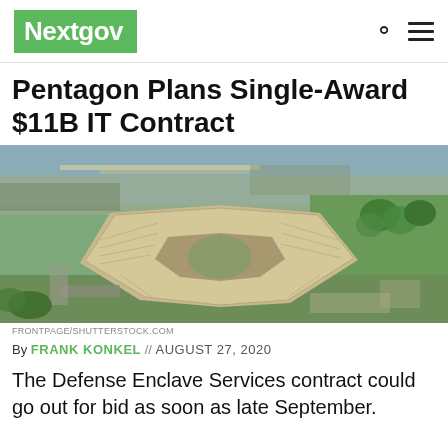Nextgov
Pentagon Plans Single-Award $11B IT Contract
[Figure (photo): Aerial photograph of the Pentagon building in Arlington, Virginia, showing the five-sided structure surrounded by parking lots, roads, and green spaces.]
FRONTPAGE/SHUTTERSTOCK.COM
By FRANK KONKEL // AUGUST 27, 2020
The Defense Enclave Services contract could go out for bid as soon as late September.